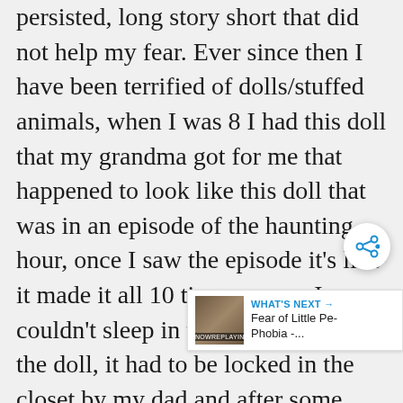persisted, long story short that did not help my fear. Ever since then I have been terrified of dolls/stuffed animals, when I was 8 I had this doll that my grandma got for me that happened to look like this doll that was in an episode of the haunting hour, once I saw the episode it's like it made it all 10 times worse, I couldn't sleep in the same room as the doll, it had to be locked in the closet by my dad and after some time I made my dad go take it to the dump and even after I was terrified it would come back and kill me. Any dolls I ever got I feared they were gonna some how m me, I used to not even be able to say the word "doll" or even talk about them. I
[Figure (other): Share button - circular white button with share icon (a network/share symbol with arrows)]
[Figure (other): What's Next banner showing a thumbnail image on the left with NOWREPLAYING tag, and text on the right reading WHAT'S NEXT → Fear of Little Pe- Phobia -...]